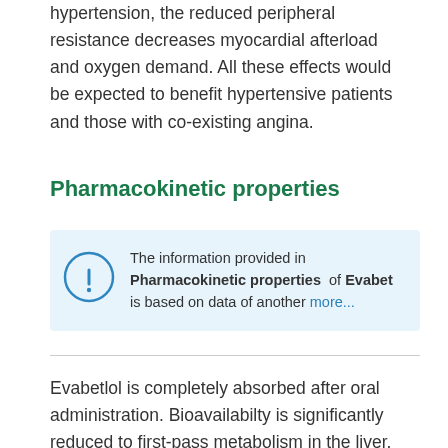hypertension, the reduced peripheral resistance decreases myocardial afterload and oxygen demand. All these effects would be expected to benefit hypertensive patients and those with co-existing angina.
Pharmacokinetic properties
The information provided in Pharmacokinetic properties of Evabet is based on data of another more...
Evabetlol is completely absorbed after oral administration. Bioavailabilty is significantly reduced to first-pass metabolism in the liver, but